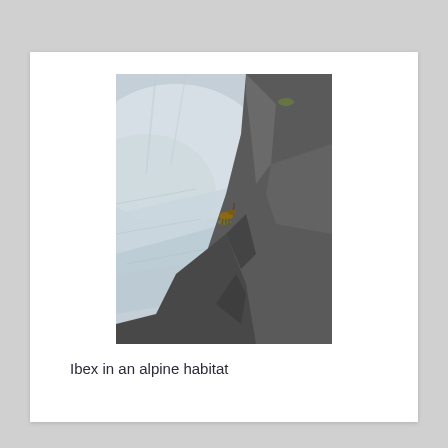[Figure (photo): A photograph of an ibex (mountain goat) standing on a steep rocky cliff face in an alpine habitat, with a snowy glacier visible in the background.]
Ibex in an alpine habitat